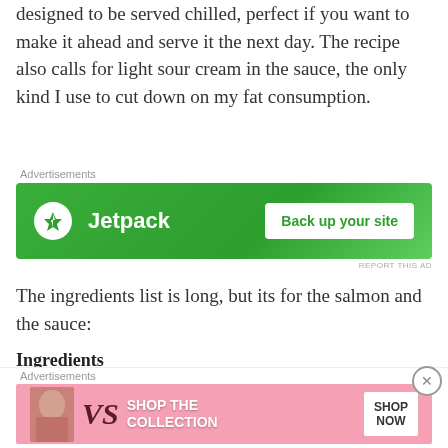designed to be served chilled, perfect if you want to make it ahead and serve it the next day. The recipe also calls for light sour cream in the sauce, the only kind I use to cut down on my fat consumption.
[Figure (screenshot): Jetpack advertisement banner with green background, Jetpack logo and 'Back up your site' button]
The ingredients list is long, but its for the salmon and the sauce:
Ingredients
1-1/2 cups water
1 cup white wine or chicken broth
4 green onions, sliced
10 whole peppercorns
[Figure (screenshot): Victoria's Secret advertisement banner with pink background, model photo, VS logo, 'SHOP THE COLLECTION' text, and 'SHOP NOW' button]